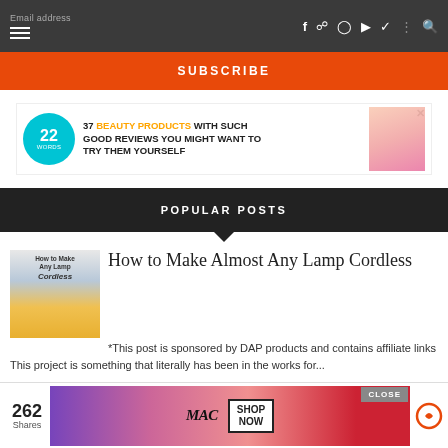Email address [hamburger menu] [social icons: f p instagram youtube twitter dots search]
SUBSCRIBE
[Figure (infographic): Ad banner: 22 Words circle logo, '37 BEAUTY PRODUCTS WITH SUCH GOOD REVIEWS YOU MIGHT WANT TO TRY THEM YOURSELF', with product image and X close button]
POPULAR POSTS
How to Make Almost Any Lamp Cordless
*This post is sponsored by DAP products and contains affiliate links This project is something that literally has been in the works for...
[Figure (photo): MAC cosmetics advertisement showing lipsticks in purple, pink, and red with SHOP NOW button]
262 Shares